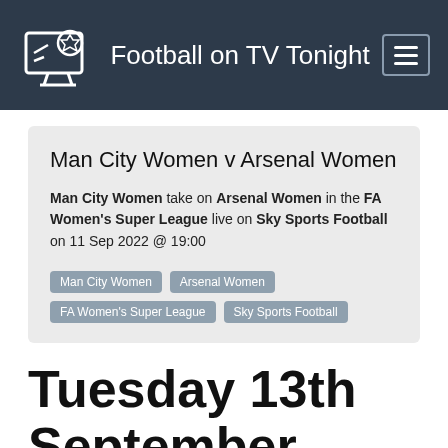Football on TV Tonight
Man City Women v Arsenal Women
Man City Women take on Arsenal Women in the FA Women's Super League live on Sky Sports Football on 11 Sep 2022 @ 19:00
Man City Women
Arsenal Women
FA Women's Super League
Sky Sports Football
Tuesday 13th September 2022